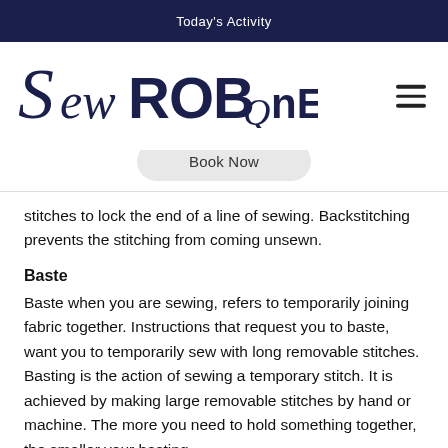Today's Activity
[Figure (logo): SewROBQnE logo in dark navy blue script and serif font]
Book Now
stitches to lock the end of a line of sewing. Backstitching prevents the stitching from coming unsewn.
Baste
Baste when you are sewing, refers to temporarily joining fabric together. Instructions that request you to baste, want you to temporarily sew with long removable stitches. Basting is the action of sewing a temporary stitch. It is achieved by making large removable stitches by hand or machine. The more you need to hold something together, the smaller your basting